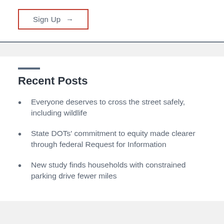Sign Up →
Recent Posts
Everyone deserves to cross the street safely, including wildlife
State DOTs' commitment to equity made clearer through federal Request for Information
New study finds households with constrained parking drive fewer miles